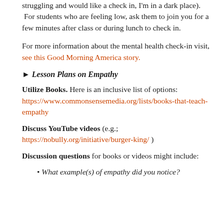struggling and would like a check in, I'm in a dark place).  For students who are feeling low, ask them to join you for a few minutes after class or during lunch to check in.
For more information about the mental health check-in visit, see this Good Morning America story.
► Lesson Plans on Empathy
Utilize Books. Here is an inclusive list of options: https://www.commonsensemedia.org/lists/books-that-teach-empathy
Discuss YouTube videos (e.g.; https://nobully.org/initiative/burger-king/ )
Discussion questions for books or videos might include:
What example(s) of empathy did you notice?